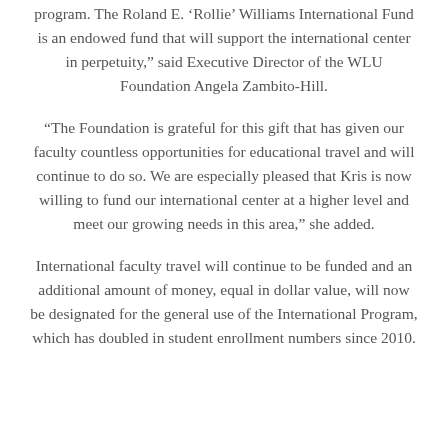program. The Roland E. 'Rollie' Williams International Fund is an endowed fund that will support the international center in perpetuity," said Executive Director of the WLU Foundation Angela Zambito-Hill.
"The Foundation is grateful for this gift that has given our faculty countless opportunities for educational travel and will continue to do so. We are especially pleased that Kris is now willing to fund our international center at a higher level and meet our growing needs in this area," she added.
International faculty travel will continue to be funded and an additional amount of money, equal in dollar value, will now be designated for the general use of the International Program, which has doubled in student enrollment numbers since 2010.